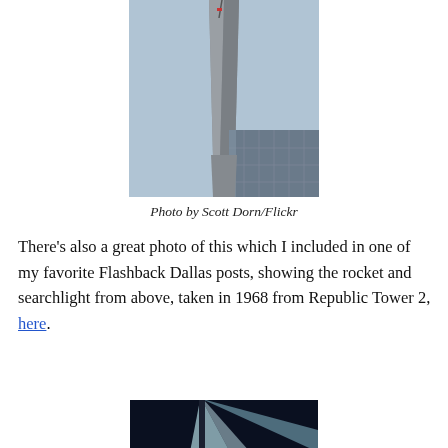[Figure (photo): Close-up photo of a tall concrete tower/spire against a light blue sky, with a glass building facade visible at the lower right. Photo credit: Scott Dorn/Flickr.]
Photo by Scott Dorn/Flickr
There's also a great photo of this which I included in one of my favorite Flashback Dallas posts, showing the rocket and searchlight from above, taken in 1968 from Republic Tower 2, here.
[Figure (photo): Dark aerial photo showing a bright searchlight beam emanating from a rocket or tower, taken in 1968 from Republic Tower 2 in Dallas.]